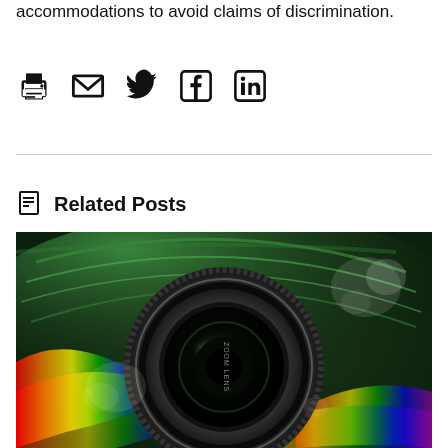accommodations to avoid claims of discrimination.
[Figure (infographic): Social sharing icons row: print, email, Twitter, Facebook, LinkedIn]
[Figure (photo): Close-up photo of a camera zoom lens with colorful swirling rainbow light effects in the background]